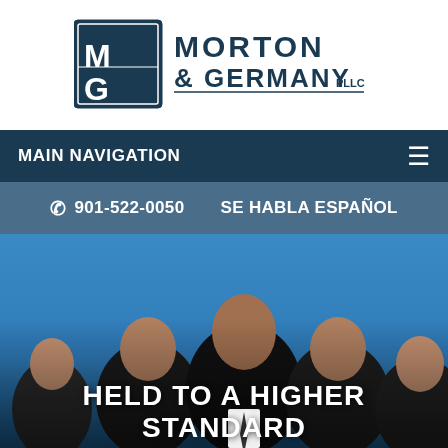[Figure (logo): Morton & Germany PLLC law firm logo — stylized M and G letters in a square emblem with firm name text]
MAIN NAVIGATION
☎ 901-522-0050   SE HABLA ESPAÑOL
[Figure (photo): Group photo of five male attorneys in suits against a blue sky background, with text overlay reading HELD TO A HIGHER STANDARD]